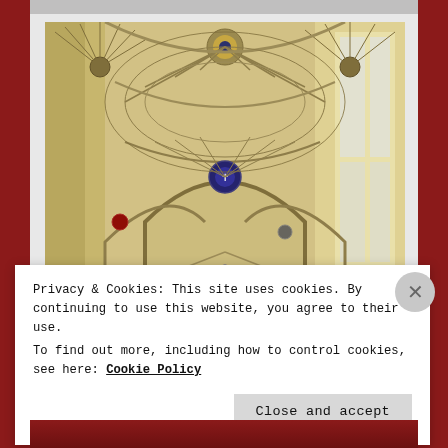[Figure (photo): Interior photograph of a Gothic cathedral showing ornate fan vaulting on the ceiling, tall arched nave, and large windows with natural light. The vaulting features intricate ribbed stone patterns radiating from central bosses. Likely Bath Abbey interior.]
Privacy & Cookies: This site uses cookies. By continuing to use this website, you agree to their use.
To find out more, including how to control cookies, see here: Cookie Policy